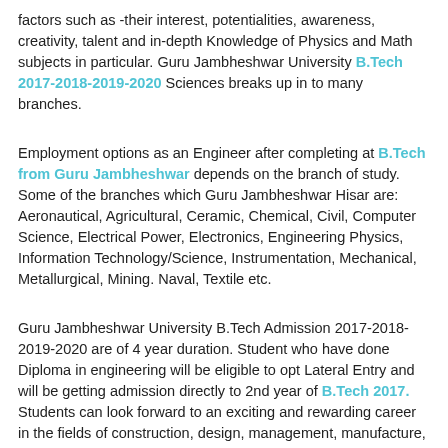factors such as -their interest, potentialities, awareness, creativity, talent and in-depth Knowledge of Physics and Math subjects in particular. Guru Jambheshwar University B.Tech 2017-2018-2019-2020 Sciences breaks up in to many branches.
Employment options as an Engineer after completing at B.Tech from Guru Jambheshwar depends on the branch of study. Some of the branches which Guru Jambheshwar Hisar are: Aeronautical, Agricultural, Ceramic, Chemical, Civil, Computer Science, Electrical Power, Electronics, Engineering Physics, Information Technology/Science, Instrumentation, Mechanical, Metallurgical, Mining. Naval, Textile etc.
Guru Jambheshwar University B.Tech Admission 2017-2018-2019-2020 are of 4 year duration. Student who have done Diploma in engineering will be eligible to opt Lateral Entry and will be getting admission directly to 2nd year of B.Tech 2017. Students can look forward to an exciting and rewarding career in the fields of construction, design, management, manufacture, research or teaching.